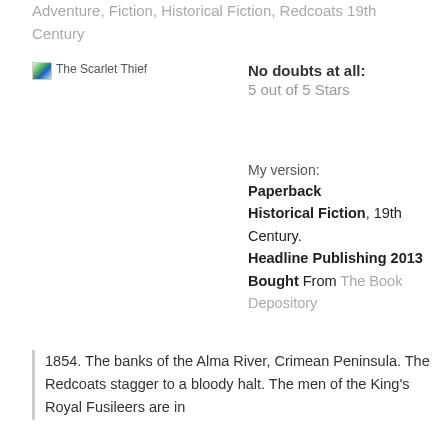Adventure, Fiction, Historical Fiction, Redcoats 19th Century
[Figure (photo): Broken image thumbnail for The Scarlet Thief book cover]
No doubts at all:
5 out of 5 Stars
My version:
Paperback Historical Fiction, 19th Century.
Headline Publishing 2013
Bought From The Book Depository
1854. The banks of the Alma River, Crimean Peninsula. The Redcoats stagger to a bloody halt. The men of the King's Royal Fusileers are in